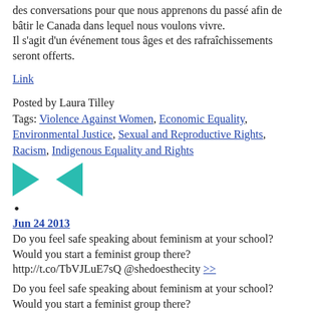des conversations pour que nous apprenons du passé afin de bâtir le Canada dans lequel nous voulons vivre.
Il s'agit d'un événement tous âges et des rafraîchissements seront offerts.
Link
Posted by Laura Tilley
Tags: Violence Against Women, Economic Equality, Environmental Justice, Sexual and Reproductive Rights, Racism, Indigenous Equality and Rights
[Figure (logo): Teal double-arrow logo pointing inward (two triangles facing each other)]
•
Jun 24 2013
Do you feel safe speaking about feminism at your school? Would you start a feminist group there? http://t.co/TbVJLuE7sQ @shedoesthecity >>
Do you feel safe speaking about feminism at your school? Would you start a feminist group there? http://t.co/TbVJLuE7sQ @shedoesthecity
Link